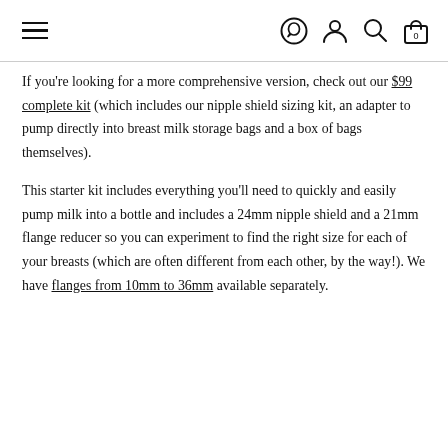Navigation header with hamburger menu and icons
If you're looking for a more comprehensive version, check out our $99 complete kit (which includes our nipple shield sizing kit, an adapter to pump directly into breast milk storage bags and a box of bags themselves).
This starter kit includes everything you'll need to quickly and easily pump milk into a bottle and includes a 24mm nipple shield and a 21mm flange reducer so you can experiment to find the right size for each of your breasts (which are often different from each other, by the way!). We have flanges from 10mm to 36mm available separately.